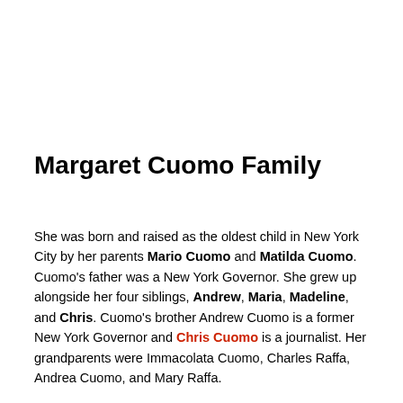Margaret Cuomo Family
She was born and raised as the oldest child in New York City by her parents Mario Cuomo and Matilda Cuomo. Cuomo's father was a New York Governor. She grew up alongside her four siblings, Andrew, Maria, Madeline, and Chris. Cuomo's brother Andrew Cuomo is a former New York Governor and Chris Cuomo is a journalist. Her grandparents were Immacolata Cuomo, Charles Raffa, Andrea Cuomo, and Mary Raffa.